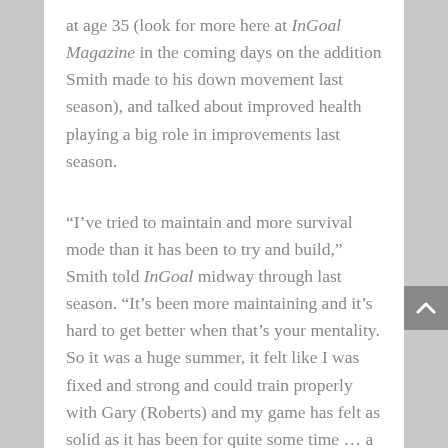at age 35 (look for more here at InGoal Magazine in the coming days on the addition Smith made to his down movement last season), and talked about improved health playing a big role in improvements last season.
“I’ve tried to maintain and more survival mode than it has been to try and build,” Smith told InGoal midway through last season. “It’s been more maintaining and it’s hard to get better when that’s your mentality. So it was a huge summer, it felt like I was fixed and strong and could train properly with Gary (Roberts) and my game has felt as solid as it has been for quite some time … a long while.”
It’s also interesting to note Johnson does